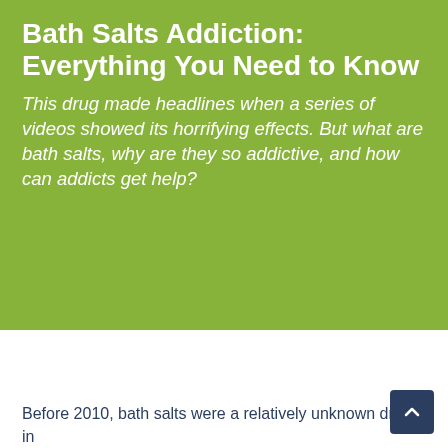Bath Salts Addiction: Everything You Need to Know
This drug made headlines when a series of videos showed its horrifying effects. But what are bath salts, why are they so addictive, and how can addicts get help?
Before 2010, bath salts were a relatively unknown drug in